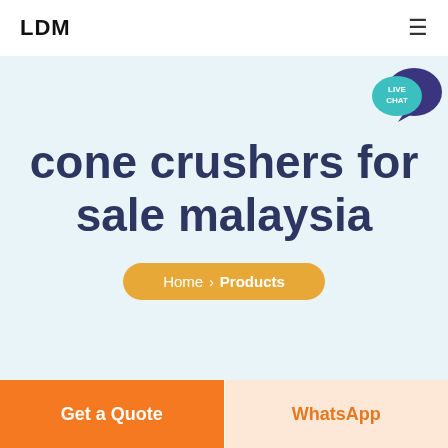LDM
cone crushers for sale malaysia
Home > Products
[Figure (illustration): Live Chat speech bubble icon with teal and dark purple colors, showing 'LIVE CHAT' text]
Get a Quote
WhatsApp